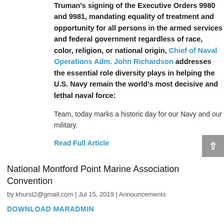Truman's signing of the Executive Orders 9980 and 9981, mandating equality of treatment and opportunity for all persons in the armed services and federal government regardless of race, color, religion, or national origin, Chief of Naval Operations Adm. John Richardson addresses the essential role diversity plays in helping the U.S. Navy remain the world's most decisive and lethal naval force:
Team, today marks a historic day for our Navy and our military.
Read Full Article
National Montford Point Marine Association Convention
by khurst2@gmail.com | Jul 15, 2019 | Announcements
DOWNLOAD MARADMIN